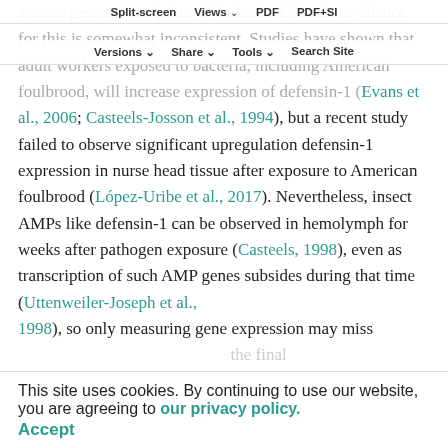Split-screen | Views | PDF | PDF+SI | Versions | Share | Tools | Search Site
greater gene transcription of defensin-1, but the evidence for this is somewhat inconsistent. Studies have shown that adult workers exposed to bacteria, including American foulbrood, will increase expression of defensin-1 (Evans et al., 2006; Casteels-Josson et al., 1994), but a recent study failed to observe significant upregulation defensin-1 expression in nurse head tissue after exposure to American foulbrood (López-Uribe et al., 2017). Nevertheless, insect AMPs like defensin-1 can be observed in hemolymph for weeks after pathogen exposure (Casteels, 1998), even as transcription of such AMP genes subsides during that time (Uttenweiler-Joseph et al., 1998), so only measuring gene expression may miss ... the final ... exposure may upregulate the translation of defensin-1 mRNA into
This site uses cookies. By continuing to use our website, you are agreeing to our privacy policy. Accept